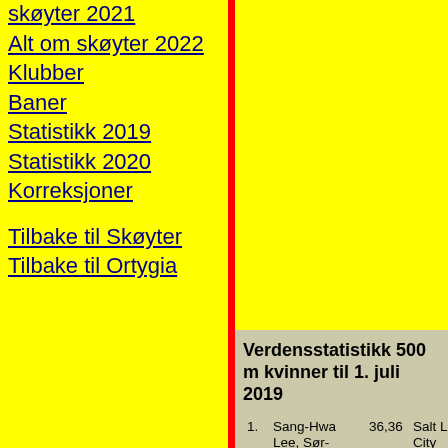skøyter 2021
Alt om skøyter 2022
Klubber
Baner
Statistikk 2019
Statistikk 2020
Korreksjoner
Tilbake til Skøyter
Tilbake til Ortygia
Verdensstatistikk 500 m kvinner til 1. juli 2019
| # | Navn | Tid | Sted | Dato |
| --- | --- | --- | --- | --- |
| 1. | Sang-Hwa Lee, Sør-Korea | 36,36 | Salt Lake City | 16.11.2013 |